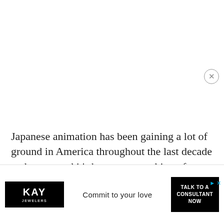Japanese animation has been gaining a lot of ground in America throughout the last decade and more, and it's become something of an obsession and a passion with some people. In all honest I only understand about half of the story lines but what I have seen isn't that bad. Their idea of a story is a lot different obviously but it comes from the same place as normal. What m
[Figure (other): Kay Jewelers advertisement overlay with logo on left, 'Commit to your love' tagline in center, 'TALK TO A CONSULTANT NOW' CTA button on right, and close/skip controls in top-right corner]